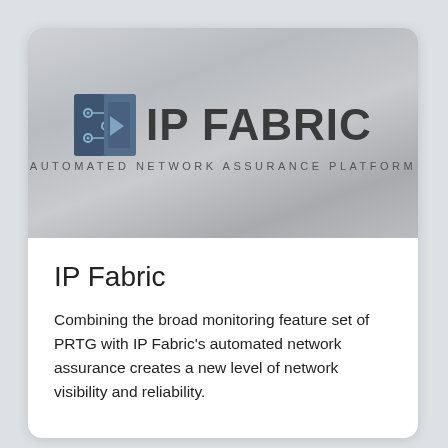[Figure (logo): IP Fabric logo with circuit-board icon on left and text 'IP FABRIC' with subtitle 'AUTOMATED NETWORK ASSURANCE PLATFORM' on a silver/gray gradient background]
IP Fabric
Combining the broad monitoring feature set of PRTG with IP Fabric's automated network assurance creates a new level of network visibility and reliability.